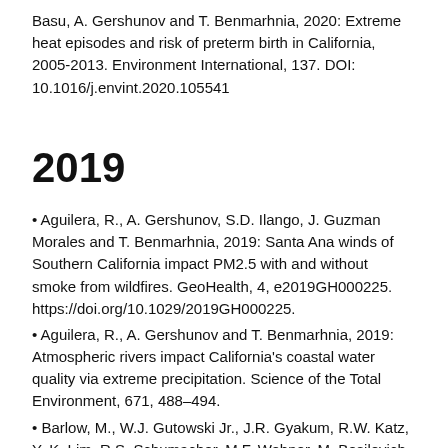Basu, A. Gershunov and T. Benmarhnia, 2020: Extreme heat episodes and risk of preterm birth in California, 2005-2013. Environment International, 137. DOI: 10.1016/j.envint.2020.105541
2019
Aguilera, R., A. Gershunov, S.D. Ilango, J. Guzman Morales and T. Benmarhnia, 2019: Santa Ana winds of Southern California impact PM2.5 with and without smoke from wildfires. GeoHealth, 4, e2019GH000225. https://doi.org/10.1029/2019GH000225.
Aguilera, R., A. Gershunov and T. Benmarhnia, 2019: Atmospheric rivers impact California's coastal water quality via extreme precipitation. Science of the Total Environment, 671, 488–494.
Barlow, M., W.J. Gutowski Jr., J.R. Gyakum, R.W. Katz, Y.-K. Lim, R.S. Schumacher, M.F. Wehner, M. Bosilovich, A.